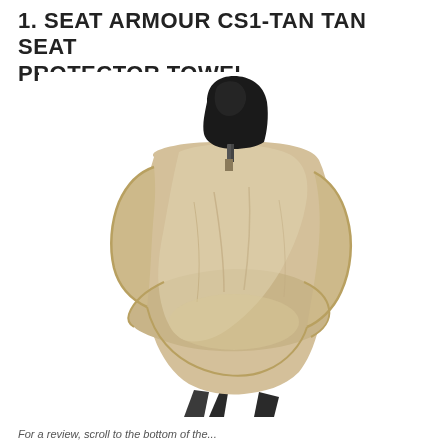1. SEAT ARMOUR CS1-TAN TAN SEAT PROTECTOR TOWEL
[Figure (photo): A tan/beige seat protector towel draped over a car seat with a black headrest visible at the top. The cover is a soft tan fabric with gold/tan piping along the edges, covering the seat back and seat cushion area.]
For a review, scroll to the bottom of the...